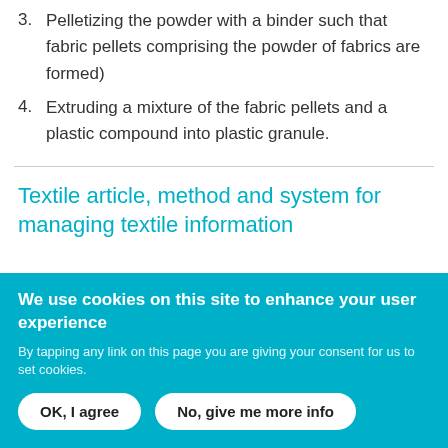3. Pelletizing the powder with a binder such that fabric pellets comprising the powder of fabrics are formed)
4. Extruding a mixture of the fabric pellets and a plastic compound into plastic granule.
Textile article, method and system for managing textile information
We use cookies on this site to enhance your user experience
By tapping any link on this page you are giving your consent for us to set cookies.
OK, I agree | No, give me more info